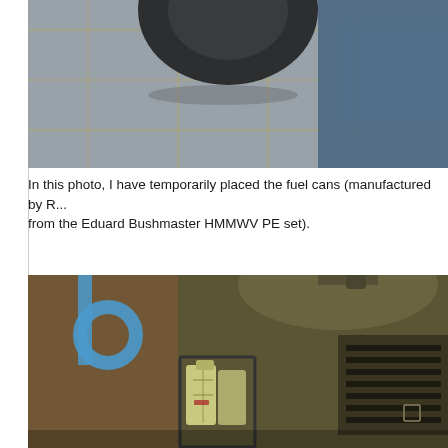[Figure (photo): Close-up photo of a scale model vehicle wheel/tire on a cutting mat with yellow grid lines, and a blue vehicle body panel visible at right]
In this photo, I have temporarily placed the fuel cans (manufactured by R... from the Eduard Bushmaster HMMWV PE set).
[Figure (photo): Close-up photo of scale model military vehicle components showing fuel cans (light green/yellow jerry cans) next to a dark olive/bronze colored armored vehicle body with vented side panels and a blue hose visible in background]